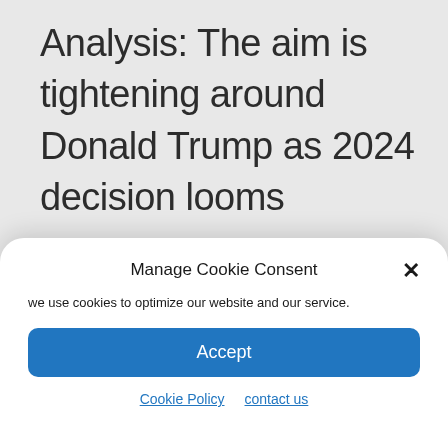Analysis: The aim is tightening around Donald Trump as 2024 decision looms
The Lakers unveil their new
Manage Cookie Consent
we use cookies to optimize our website and our service.
Accept
Cookie Policy   contact us